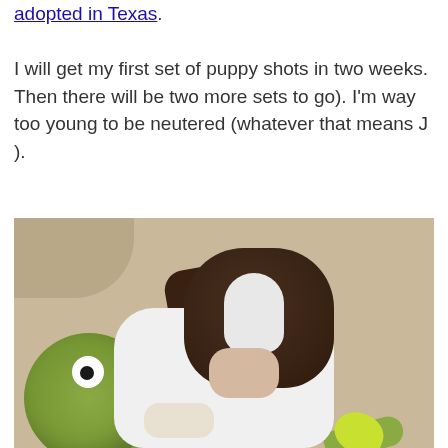adopted in Texas. I will get my first set of puppy shots in two weeks. Then there will be two more sets to go). I'm way too young to be neutered (whatever that means J ).
[Figure (photo): A small black and white puppy resting its head on a green stuffed turtle plush toy on a beige surface]